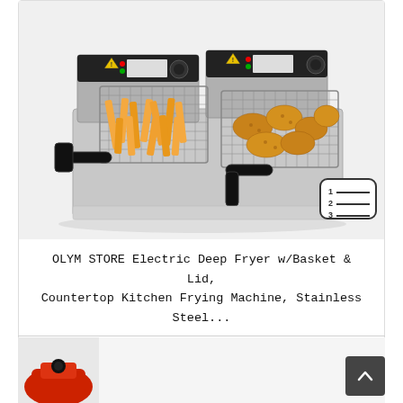[Figure (photo): A stainless steel double-tank electric deep fryer with two wire fry baskets: left basket contains french fries, right basket contains fried chicken pieces. Two control knobs and warning labels visible on top. Black handles on each basket.]
OLYM STORE Electric Deep Fryer w/Basket & Lid, Countertop Kitchen Frying Machine, Stainless Steel...
CHECK DISCOUNTED PRICE
[Figure (photo): Partial view of a second product at the bottom of the page, appears to be a red kitchen appliance.]